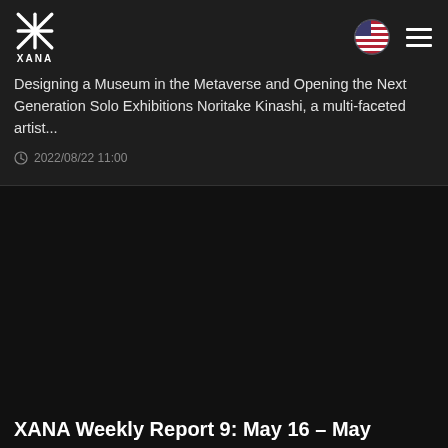XANA logo and navigation bar
Designing a Museum in the Metaverse and Opening the Next Generation Solo Exhibitions Noritake Kinashi, a multi-faceted artist...
2022/08/22 11:00
[Figure (photo): Dark/black image area for the second article card]
XANA Weekly Report 9: May 16 – May